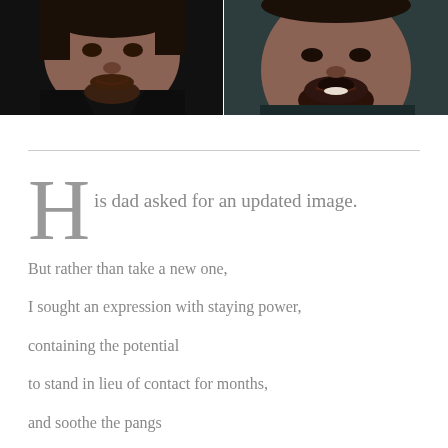[Figure (photo): Two side-by-side close-up portrait photos of the same man. Left photo shows him in a black shirt with a dark background. Right photo shows him against a dark teal/blue background, closer crop showing chin and lower face.]
His dad asked for an updated image.
But rather than take a new one,

I sought an expression with staying power,

containing the potential

to stand in lieu of contact for months,

and soothe the pangs